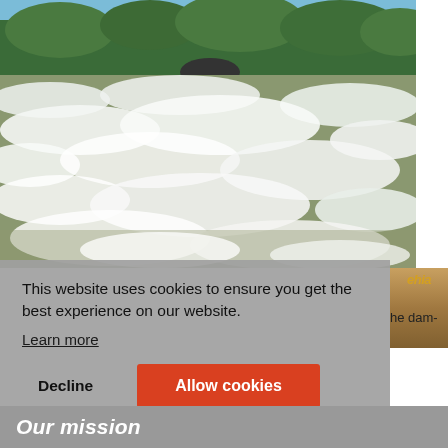[Figure (photo): Rushing river rapids with white water and foam, dense green trees/vegetation visible along the far bank, blue sky above. Appears to be a large African river with waterfalls or rapids.]
This website uses cookies to ensure you get the best experience on our website.
Learn more
Decline
Allow cookies
Our mission